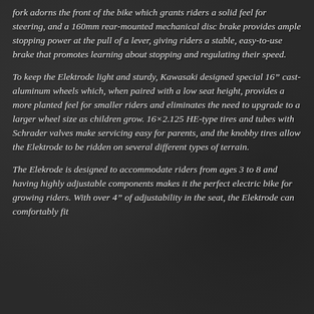fork adorns the front of the bike which grants riders a solid feel for steering, and a 160mm rear-mounted mechanical disc brake provides ample stopping power at the pull of a lever, giving riders a stable, easy-to-use brake that promotes learning about stopping and regulating their speed.
To keep the Elektrode light and sturdy, Kawasaki designed special 16" cast-aluminum wheels which, when paired with a low seat height, provides a more planted feel for smaller riders and eliminates the need to upgrade to a larger wheel size as children grow. 16×2.125 HE-type tires and tubes with Schrader valves make servicing easy for parents, and the knobby tires allow the Elektrode to be ridden on several different types of terrain.
The Elekrode is designed to accommodate riders from ages 3 to 8 and having highly adjustable components makes it the perfect electric bike for growing riders. With over 4" of adjustability in the seat, the Elektrode can comfortably fit